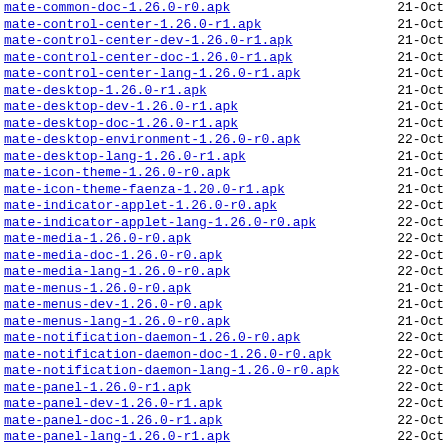mate-common-doc-1.26.0-r0.apk  21-Oct
mate-control-center-1.26.0-r1.apk  21-Oct
mate-control-center-dev-1.26.0-r1.apk  21-Oct
mate-control-center-doc-1.26.0-r1.apk  21-Oct
mate-control-center-lang-1.26.0-r1.apk  21-Oct
mate-desktop-1.26.0-r1.apk  21-Oct
mate-desktop-dev-1.26.0-r1.apk  21-Oct
mate-desktop-doc-1.26.0-r1.apk  21-Oct
mate-desktop-environment-1.26.0-r0.apk  22-Oct
mate-desktop-lang-1.26.0-r1.apk  21-Oct
mate-icon-theme-1.26.0-r0.apk  21-Oct
mate-icon-theme-faenza-1.20.0-r1.apk  21-Oct
mate-indicator-applet-1.26.0-r0.apk  22-Oct
mate-indicator-applet-lang-1.26.0-r0.apk  22-Oct
mate-media-1.26.0-r0.apk  22-Oct
mate-media-doc-1.26.0-r0.apk  22-Oct
mate-media-lang-1.26.0-r0.apk  22-Oct
mate-menus-1.26.0-r0.apk  21-Oct
mate-menus-dev-1.26.0-r0.apk  21-Oct
mate-menus-lang-1.26.0-r0.apk  21-Oct
mate-notification-daemon-1.26.0-r0.apk  22-Oct
mate-notification-daemon-doc-1.26.0-r0.apk  22-Oct
mate-notification-daemon-lang-1.26.0-r0.apk  22-Oct
mate-panel-1.26.0-r1.apk  22-Oct
mate-panel-dev-1.26.0-r1.apk  22-Oct
mate-panel-doc-1.26.0-r1.apk  22-Oct
mate-panel-lang-1.26.0-r1.apk  22-Oct
mate-polkit-1.26.0-r0.apk  21-Oct
mate-polkit-lang-1.26.0-r0.apk  21-Oct
mate-power-manager-1.26.0-r0.apk  22-Oct